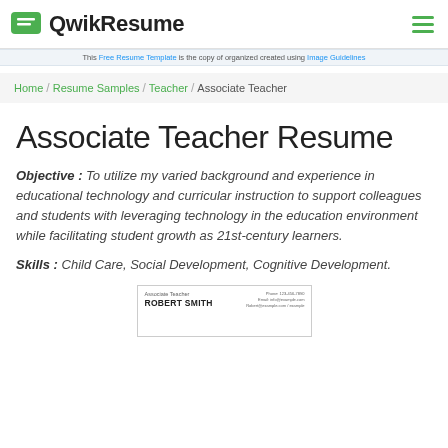QwikResume
This Free Resume Template is the copy of organized created using Image Guidelines
Home / Resume Samples / Teacher / Associate Teacher
Associate Teacher Resume
Objective : To utilize my varied background and experience in educational technology and curricular instruction to support colleagues and students with leveraging technology in the education environment while facilitating student growth as 21st-century learners.
Skills : Child Care, Social Development, Cognitive Development.
[Figure (other): Preview thumbnail of Associate Teacher resume for Robert Smith]